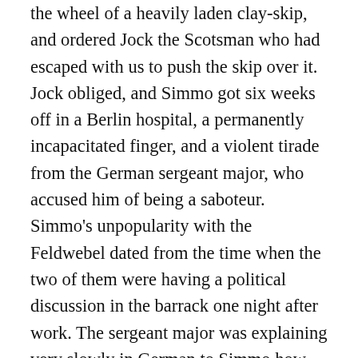the wheel of a heavily laden clay-skip, and ordered Jock the Scotsman who had escaped with us to push the skip over it. Jock obliged, and Simmo got six weeks off in a Berlin hospital, a permanently incapacitated finger, and a violent tirade from the German sergeant major, who accused him of being a saboteur. Simmo's unpopularity with the Feldwebel dated from the time when the two of them were having a political discussion in the barrack one night after work. The sergeant major was explaining very slowly in German to Simmo how all the troubles of the world were caused by the Jews, and how everything would be one hundred per cent if only one were able to get rid of them. Simmo listened carefully, an expression of strained attention on his face, a